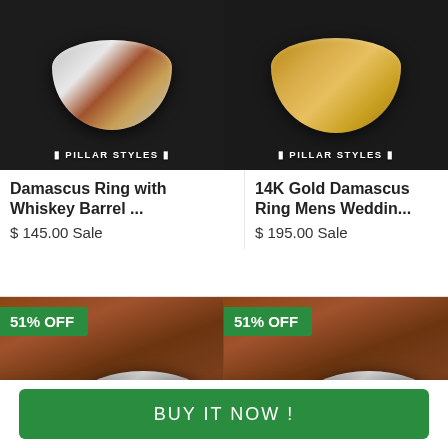[Figure (photo): Damascus ring with whiskey barrel inlay shown on black background with Pillar Styles logo]
[Figure (photo): 14K Gold Damascus ring on black background with Pillar Styles logo]
Damascus Ring with Whiskey Barrel ...
$ 145.00 Sale
14K Gold Damascus Ring Mens Weddin...
$ 195.00 Sale
[Figure (photo): Damascus ring with gold accent on wood background, 51% OFF badge]
[Figure (photo): Damascus ring with wood inlay on wood background, 51% OFF badge]
BUY IT NOW !